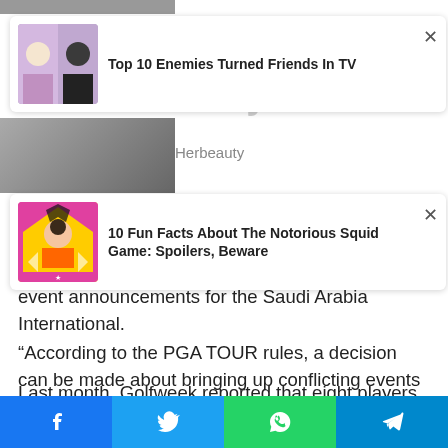[Figure (screenshot): Ad card: Top 10 Enemies Turned Friends In TV with thumbnail of two women]
5 Reasons To Try This Diet: See My Photos
Herbeauty
[Figure (screenshot): Ad card: 10 Fun Facts About The Notorious Squid Game: Spoilers, Beware with Squid Game character thumbnail]
told Reuters: "We do not accept any conflicting event announcements for the Saudi Arabia International.
“According to the PGA TOUR rules, a decision can be made about bringing up conflicting events up to 30 days before the first round of the event.”
Last month, Golfweek reported that eight players, including world number three Johnson, had applied for a waiver. If they
[Figure (screenshot): Social media share bar with Facebook, Twitter, WhatsApp, and Telegram buttons]